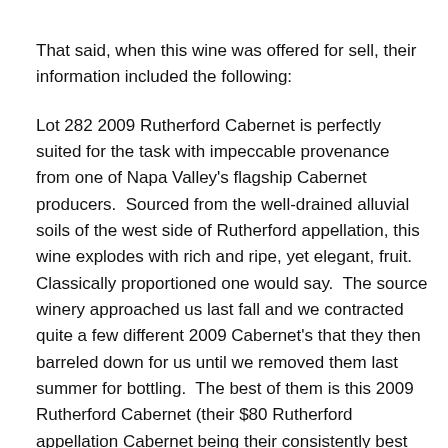That said, when this wine was offered for sell, their information included the following:
Lot 282 2009 Rutherford Cabernet is perfectly suited for the task with impeccable provenance from one of Napa Valley's flagship Cabernet producers.  Sourced from the well-drained alluvial soils of the west side of Rutherford appellation, this wine explodes with rich and ripe, yet elegant, fruit.  Classically proportioned one would say.  The source winery approached us last fall and we contracted quite a few different 2009 Cabernet's that they then barreled down for us until we removed them last summer for bottling.  The best of them is this 2009 Rutherford Cabernet (their $80 Rutherford appellation Cabernet being their consistently best rated wine with the